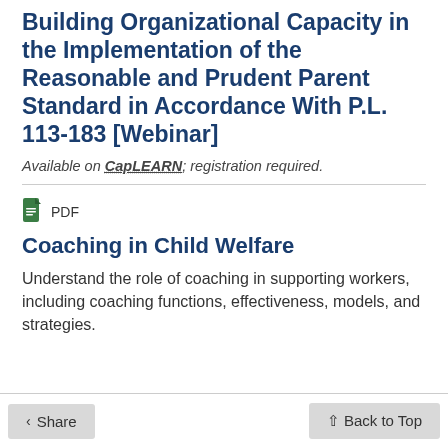Building Organizational Capacity in the Implementation of the Reasonable and Prudent Parent Standard in Accordance With P.L. 113-183 [Webinar]
Available on CapLEARN; registration required.
[Figure (other): Green PDF document icon]
PDF
Coaching in Child Welfare
Understand the role of coaching in supporting workers, including coaching functions, effectiveness, models, and strategies.
Share   Back to Top